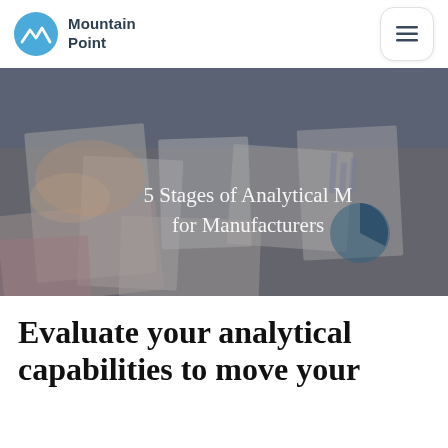Mountain Point
[Figure (photo): Overhead photo of a business meeting desk covered with printed charts, graphs, reports, and paperwork. Hands of a person writing on papers are visible. Overlaid text reads '5 Stages of Analytical M... for Manufacturers' in white serif font.]
Evaluate your analytical capabilities to move your